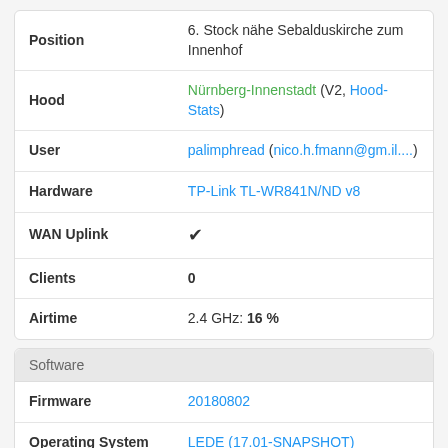| Position | 6. Stock nähe Sebalduskirche zum Innenhof |
| Hood | Nürnberg-Innenstadt (V2, Hood-Stats) |
| User | palimphread (nico.h.fmann@gm.il....) |
| Hardware | TP-Link TL-WR841N/ND v8 |
| WAN Uplink | ✔ |
| Clients | 0 |
| Airtime | 2.4 GHz: 16 % |
Software
| Firmware | 20180802 |
| Operating System | LEDE (17.01-SNAPSHOT) |
| Kernel | 4.4.89 |
| B.A.T.M.A.N. adv | 2016.5 |
| Nodewatcher | 48 |